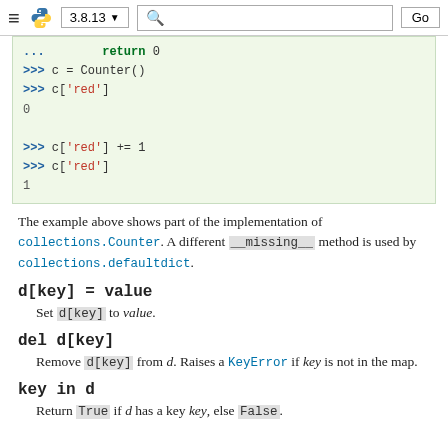≡ 🐍 3.8.13 ▾  🔍  Go
[Figure (screenshot): Python interactive code block showing Counter example with return 0, c = Counter(), c['red'] returning 0, c['red'] += 1, c['red'] returning 1]
The example above shows part of the implementation of collections.Counter. A different __missing__ method is used by collections.defaultdict.
d[key] = value
Set d[key] to value.
del d[key]
Remove d[key] from d. Raises a KeyError if key is not in the map.
key in d
Return True if d has a key key, else False.